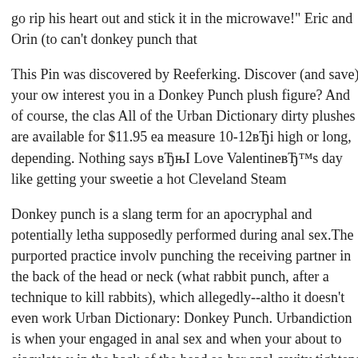go rip his heart out and stick it in the microwave!" Eric and Orin (to can't donkey punch that
This Pin was discovered by Reeferking. Discover (and save) your ow interest you in a Donkey Punch plush figure? And of course, the clas All of the Urban Dictionary dirty plushes are available for $11.95 ea measure 10-12вЂi high or long, depending. Nothing says вЂњI Love ValentineвЂ™s day like getting your sweetie a hot Cleveland Steam
Donkey punch is a slang term for an apocryphal and potentially letha supposedly performed during anal sex.The purported practice involv punching the receiving partner in the back of the head or neck (what rabbit punch, after a technique to kill rabbits), which allegedly--altho it doesn't even work Urban Dictionary: Donkey Punch. Urbandiction is when your engaged in anal sex and when your about to ejaculate y in the back of the head so her anal cavity tightens making the orgasm ofcourse).
2019/01/16В В· Verified account Protected Tweets @; Suggested use